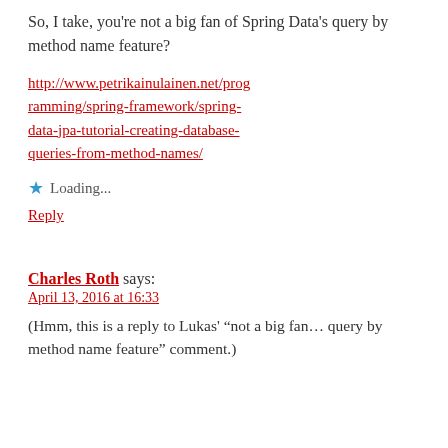So, I take, you're not a big fan of Spring Data's query by method name feature?
http://www.petrikainulainen.net/programming/spring-framework/spring-data-jpa-tutorial-creating-database-queries-from-method-names/
★ Loading...
Reply
Charles Roth says:
April 13, 2016 at 16:33
(Hmm, this is a reply to Lukas' “not a big fan… query by method name feature” comment.)